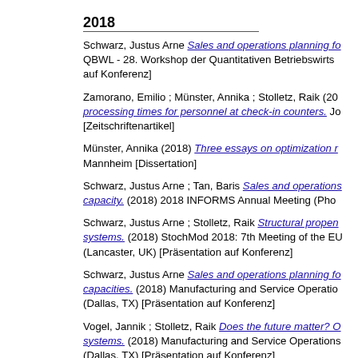2018
Schwarz, Justus Arne Sales and operations planning fo... QBWL - 28. Workshop der Quantitativen Betriebswirtsc... auf Konferenz]
Zamorano, Emilio ; Münster, Annika ; Stolletz, Raik (20... processing times for personnel at check-in counters. J... [Zeitschriftenartikel]
Münster, Annika (2018) Three essays on optimization r... Mannheim [Dissertation]
Schwarz, Justus Arne ; Tan, Baris Sales and operation... capacity. (2018) 2018 INFORMS Annual Meeting (Pho...
Schwarz, Justus Arne ; Stolletz, Raik Structural proper... systems. (2018) StochMod 2018: 7th Meeting of the EU... (Lancaster, UK) [Präsentation auf Konferenz]
Schwarz, Justus Arne Sales and operations planning fo... capacities. (2018) Manufacturing and Service Operatio... (Dallas, TX) [Präsentation auf Konferenz]
Vogel, Jannik ; Stolletz, Raik Does the future matter? O... systems. (2018) Manufacturing and Service Operations... (Dallas, TX) [Präsentation auf Konferenz]